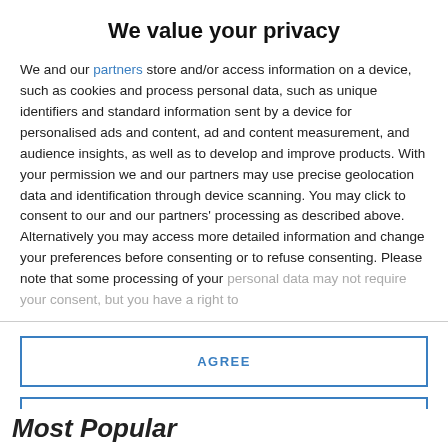We value your privacy
We and our partners store and/or access information on a device, such as cookies and process personal data, such as unique identifiers and standard information sent by a device for personalised ads and content, ad and content measurement, and audience insights, as well as to develop and improve products. With your permission we and our partners may use precise geolocation data and identification through device scanning. You may click to consent to our and our partners' processing as described above. Alternatively you may access more detailed information and change your preferences before consenting or to refuse consenting. Please note that some processing of your personal data may not require your consent, but you have a right to
AGREE
MORE OPTIONS
Most Popular